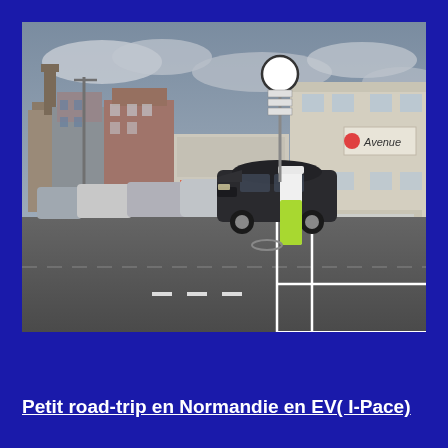[Figure (photo): Street photo showing a Jaguar I-Pace electric vehicle parked at an EV charging station in a French town (Normandie). The scene shows a row of parked cars along a street with shops and apartment buildings. A white and green EV charging column is visible in a dedicated parking bay marked with white lines. Street signs and a church tower are visible in the background.]
Petit road-trip en Normandie en EV( I-Pace)